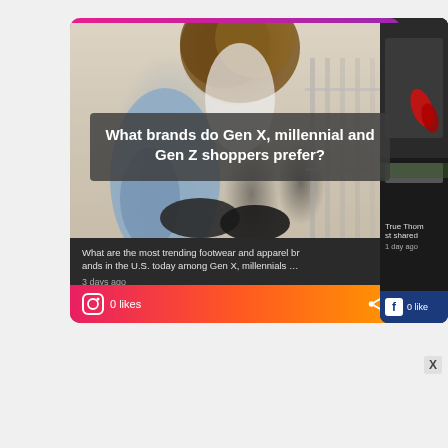[Figure (screenshot): Social media card showing a shoe store photo with person trying on shoes. Title overlay reads: What brands do Gen X, millennial and Gen Z shoppers prefer? Description: What are the most trending footwear and apparel brands in the U.S. today among Gen X, millennials … 3 days ago. Instagram 0 likes with share icon. Gradient orange-pink bottom bar.]
[Figure (screenshot): Partial side card: True Thom... st shared, 1 day ago, Facebook 0 like]
[Figure (screenshot): Advertisement banner for Vengeance movie: IN THEATERS AND ON DEMAND NOW, WATCH NOW button]
[Figure (screenshot): Advertisement banner for Hotels.com with BOOK NOW button]